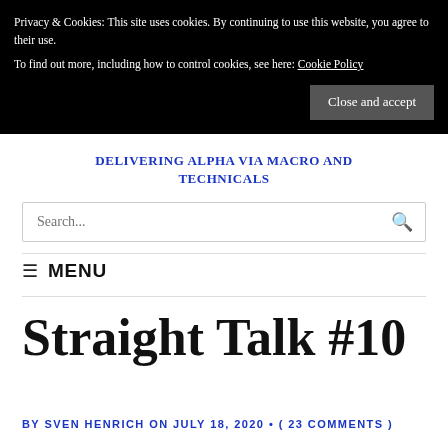Privacy & Cookies: This site uses cookies. By continuing to use this website, you agree to their use.
To find out more, including how to control cookies, see here: Cookie Policy
Close and accept
DELIVERING ALPHA VIA MACRO AND TECHNICALS
Search...
≡ MENU
Straight Talk #10
BY SVEN HENRICH ON JULY 18, 2020 • ( 23 COMMENTS )